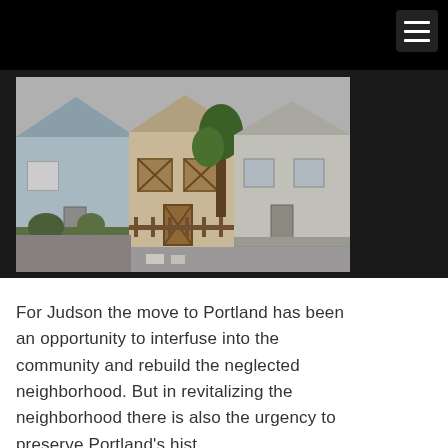[Figure (photo): Street view of three rundown row houses with boarded windows, overgrown front yards, and a sidewalk in front. The houses are old and in disrepair.]
For Judson the move to Portland has been an opportunity to interfuse into the community and rebuild the neglected neighborhood. But in revitalizing the neighborhood there is also the urgency to preserve Portland's hist...